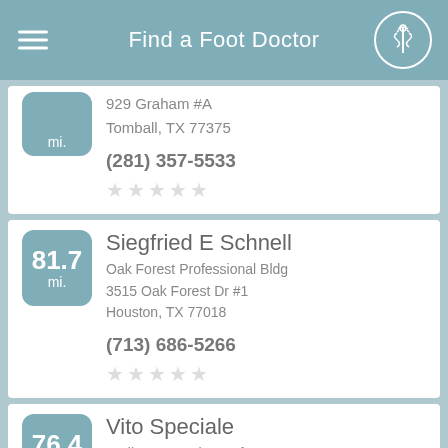Find a Foot Doctor
929 Graham #A
Tomball, TX 77375
(281) 357-5533
Siegfried E Schnell
Oak Forest Professional Bldg
3515 Oak Forest Dr #1
Houston, TX 77018
(713) 686-5266
Vito Speciale
Podiatry Associates of Houston
18220 State Hwy #220